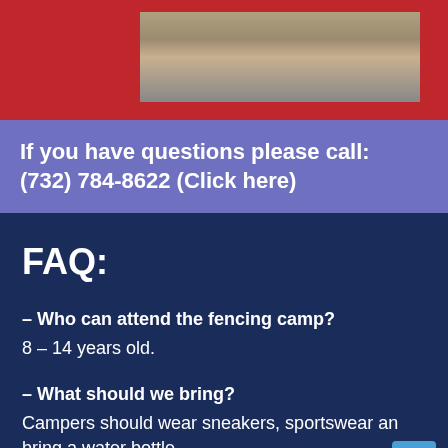[Figure (photo): Photo of group of people showing legs and feet, displayed on a red banner background]
If you have questions please call: (732) 784-8622 (Click here)
FAQ:
– Who can attend the fencing camp?
8 – 14 years old.
– What should we bring?
Campers should wear sneakers, sportswear and bring a water bottle.